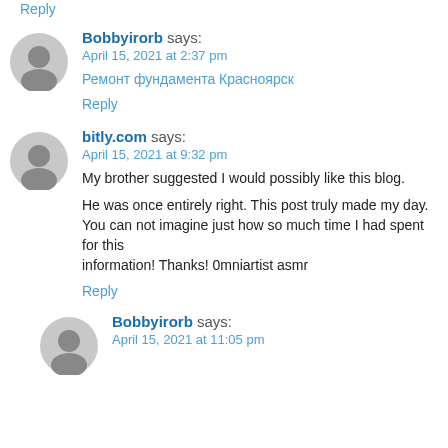Reply
Bobbyirorb says:
April 15, 2021 at 2:37 pm
Ремонт фундамента Красноярск
Reply
bitly.com says:
April 15, 2021 at 9:32 pm
My brother suggested I would possibly like this blog.
He was once entirely right. This post truly made my day.
You can not imagine just how so much time I had spent for this information! Thanks! 0mniartist asmr
Reply
Bobbyirorb says:
April 15, 2021 at 11:05 pm